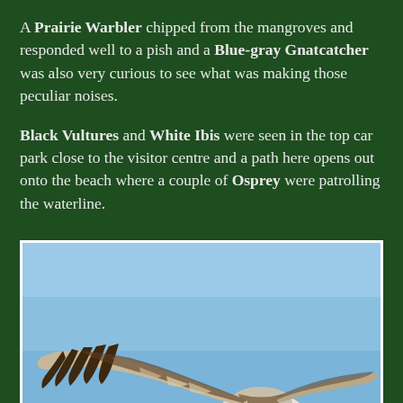A Prairie Warbler chipped from the mangroves and responded well to a pish and a Blue-gray Gnatcatcher was also very curious to see what was making those peculiar noises.
Black Vultures and White Ibis were seen in the top car park close to the visitor centre and a path here opens out onto the beach where a couple of Osprey were patrolling the waterline.
[Figure (photo): Photograph of an Osprey in flight against a blue sky, wings spread wide showing brown and white patterned plumage, viewed from below/side angle]